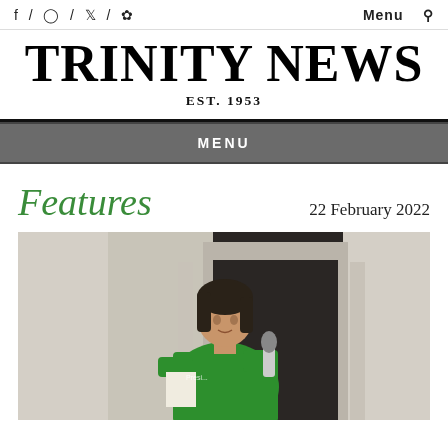f / ◎ / 𝕏 /   Menu 🔍
TRINITY NEWS EST. 1953
MENU
Features   22 February 2022
[Figure (photo): A person wearing a green t-shirt with text 'President' speaks into a microphone while holding papers, standing in front of a stone building doorway.]